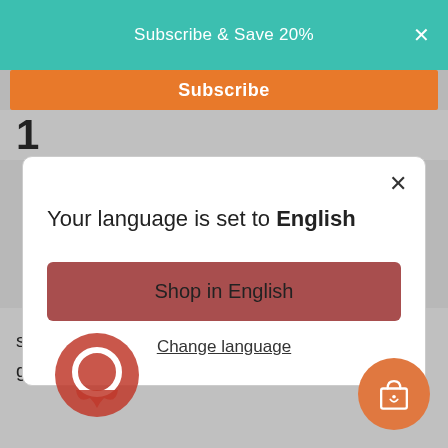Subscribe & Save 20%
Subscribe
1
[Figure (screenshot): Modal dialog with message 'Your language is set to English', a red 'Shop in English' button, and a 'Change language' underlined link. Close X in top right.]
selenium + cysteine - promotes healthy hair growth + prevents free radicals